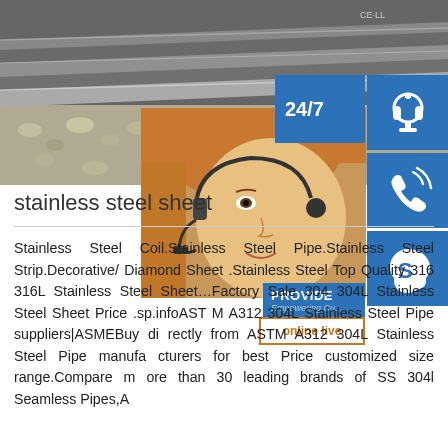[Figure (photo): Stainless steel sheet plates stacked on gravel ground, photographed from an angle showing the edges of multiple steel plates with crushed stone/gravel below them. Overlaid with a 24/7 customer service sidebar featuring a female customer service agent with headset, phone icon, Skype icon, and an 'online live' button.]
stainless steel sheet
Stainless Steel Coil.Stainless Steel Pipe.Stainless Steel Strip.Decorative/ Diamond Sheet .Stainless Steel Top Quality 316 316L Stainless Steel Sheet …Factory Sale 304 304L Stainless Steel Sheet Price .sp.infoASTM A312 304L Stainless Steel Pipe suppliers|ASMEBuy directly from ASTM A312 304L Stainless Steel Pipe manufacturers for best Price customized size range.Compare more than 30 leading brands of SS 304l Seamless Pipes,A